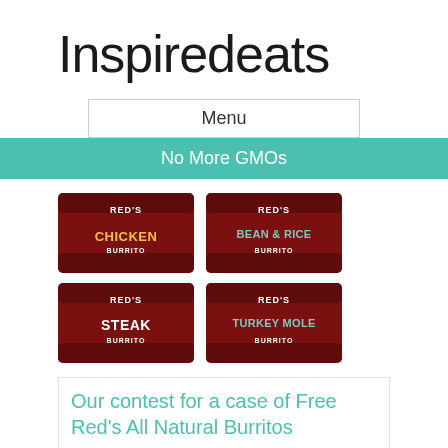Inspiredeats
Menu
No More GMOs
[Figure (photo): Four Red's brand frozen burritos: Chicken Burrito, Bean & Rice Burrito, Steak Burrito, Turkey Mole Burrito arranged in a 2x2 grid]
Our contest for a case of Free Red's All Natural Burritos